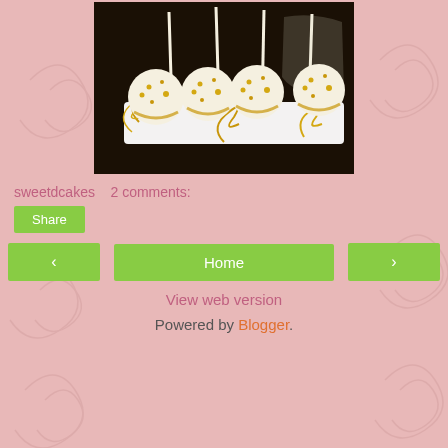[Figure (photo): Photo of white and gold cake pops on a white rectangular tray, with gold ribbon curls, sticks, and cellophane wrapping visible. Dark background.]
sweetdcakes    2 comments:
Share
< Home >
View web version
Powered by Blogger.